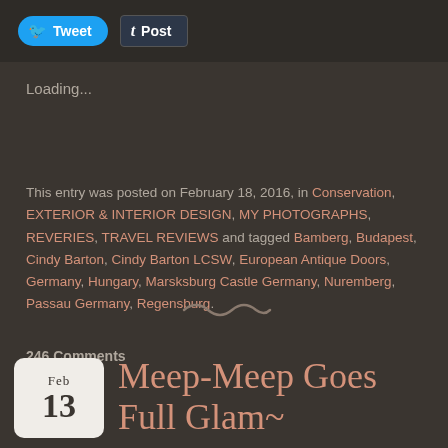[Figure (screenshot): Tweet and Post social sharing buttons in a dark top bar]
Loading...
This entry was posted on February 18, 2016, in Conservation, EXTERIOR & INTERIOR DESIGN, MY PHOTOGRAPHS, REVERIES, TRAVEL REVIEWS and tagged Bamberg, Budapest, Cindy Barton, Cindy Barton LCSW, European Antique Doors, Germany, Hungary, Marsksburg Castle Germany, Nuremberg, Passau Germany, Regensburg.
246 Comments
[Figure (illustration): Decorative tilde/squiggle divider]
Meep-Meep Goes Full Glam~
Feb 13